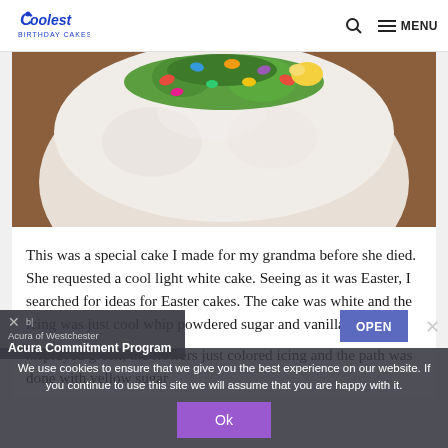Coolest Birthday Cakes — MENU
[Figure (photo): Top portion of a white cake on a wooden surface decorated with colorful candy eggs and green icing grass]
This was a special cake I made for my grandma before she died. She requested a cool light white cake. Seeing as it was Easter, I searched for ideas for Easter cakes. The cake was white and the icing was just cool whip powdered sugar and vanilla.
...sprayed green, the flowers just colored icing and the path was done with yellow sugar
We use cookies to ensure that we give you the best experience on our website. If you continue to use this site we will assume that you are happy with it.